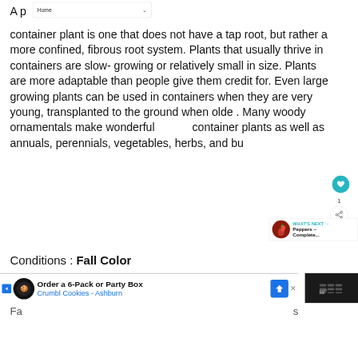Home
A p[artial] container plant is one that does not have a tap root, but rather a more confined, fibrous root system. Plants that usually thrive in containers are slow- growing or relatively small in size. Plants are more adaptable than people give them credit for. Even large growing plants can be used in containers when they are very young, transplanted to the ground when older. Many woody ornamentals make wonderful container plants as well as annuals, perennials, vegetables, herbs, and bulbs
Conditions : Fall Color
[Figure (screenshot): Advertisement banner: Order a 6-Pack or Party Box – Crumbl Cookies – Ashburn]
Fa[ll Color]s